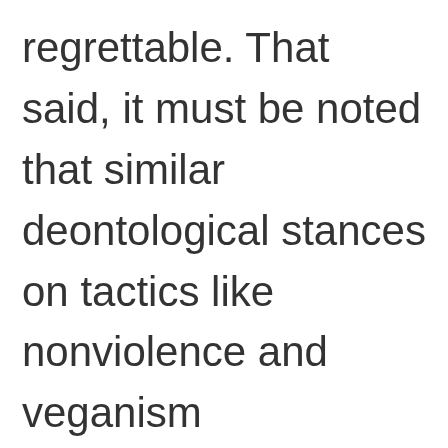regrettable. That said, it must be noted that similar deontological stances on tactics like nonviolence and veganism